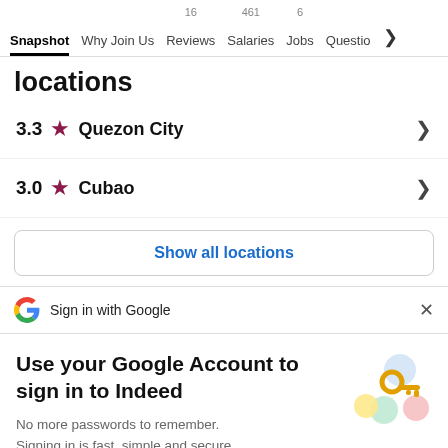Snapshot  Why Join Us  16 Reviews  461 Salaries  6 Jobs  Questio >
locations
3.3 ★ Quezon City
3.0 ★ Cubao
Show all locations
Sign in with Google
Use your Google Account to sign in to Indeed
No more passwords to remember. Signing in is fast, simple and secure.
Continue